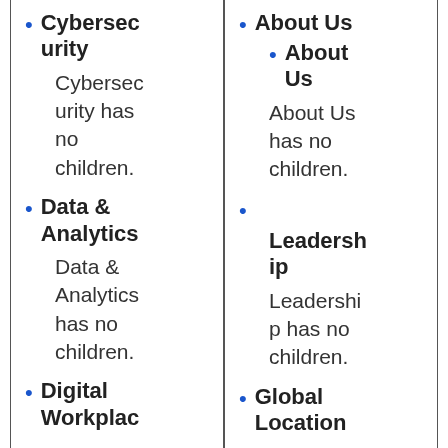Cybersecurity
Cybersecurity has no children.
Data & Analytics
Data & Analytics has no children.
Digital Workplac
About Us
About Us
About Us has no children.
Leadership
Leadership has no children.
Global Location